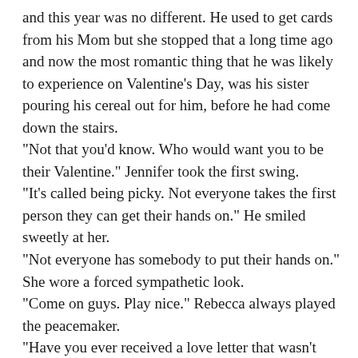and this year was no different. He used to get cards from his Mom but she stopped that a long time ago and now the most romantic thing that he was likely to experience on Valentine's Day, was his sister pouring his cereal out for him, before he had come down the stairs. "Not that you'd know. Who would want you to be their Valentine." Jennifer took the first swing. "It's called being picky. Not everyone takes the first person they can get their hands on." He smiled sweetly at her. "Not everyone has somebody to put their hands on." She wore a forced sympathetic look. "Come on guys. Play nice." Rebecca always played the peacemaker. "Have you ever received a love letter that wasn't from Mom?" She teased. "Have you ever received any letter from Mom period?" He fired back. "Nick! That's not nice." Rebecca upped her tone of voice. "It's okay little Sister." She said, now with a sour taste in her mouth. "I may not have gotten any cards from Mom but at